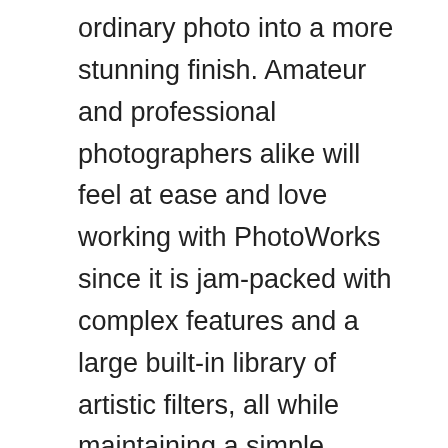ordinary photo into a more stunning finish. Amateur and professional photographers alike will feel at ease and love working with PhotoWorks since it is jam-packed with complex features and a large built-in library of artistic filters, all while maintaining a simple workflow.
With just a few mouse clicks, AMS Software PhotoWorks Pro Full Version allows you to alter, retouch, and transform any image into remarkable output. AMS Software PhotoWorks Activation Key has capabilities such as auto lighting and color balance adjustment, auto contrast between shadows and highlights, autoportrait retouching using the healing brush, and more. Additionally, the